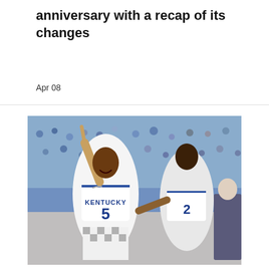anniversary with a recap of its changes
Apr 08
[Figure (photo): Kentucky Wildcats basketball player wearing jersey number 5 celebrating on court, pointing upward with index finger, with teammate wearing number 2 in background, crowd visible in stands]